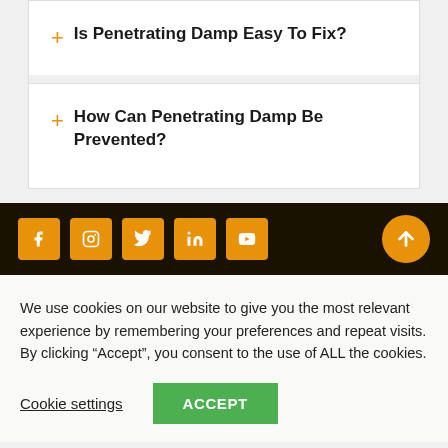Is Penetrating Damp Easy To Fix?
How Can Penetrating Damp Be Prevented?
[Figure (other): Social media icons footer bar with Facebook, Instagram, Twitter, LinkedIn, YouTube icons in orange squares on dark background, and orange circle scroll-to-top arrow button]
We use cookies on our website to give you the most relevant experience by remembering your preferences and repeat visits. By clicking “Accept”, you consent to the use of ALL the cookies.
Cookie settings  ACCEPT